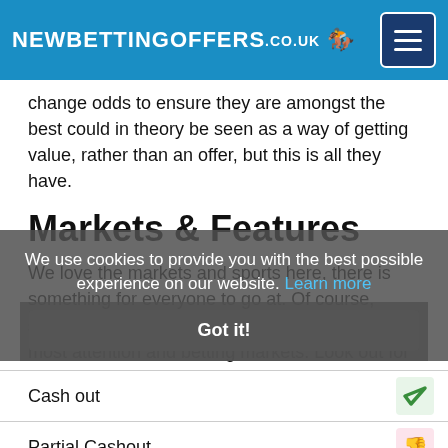NEWBETTINGOFFERS.CO.UK
change odds to ensure they are amongst the best could in theory be seen as a way of getting value, rather than an offer, but this is all they have.
Markets & Features
We love the markets and sports here, there is something for everyone to go at. Of course, sports like football, tennis and golf capture the most attention and betting markets. Look out for smaller sports though, snooker, darts, cycling and more, all getting in on the action here and enhancing the service on offer from SBK.
We use cookies to provide you with the best possible experience on our website. Learn more
Got it!
| Feature | Status |
| --- | --- |
| Cash out | ✓ |
| Partial Cashout | ✗ |